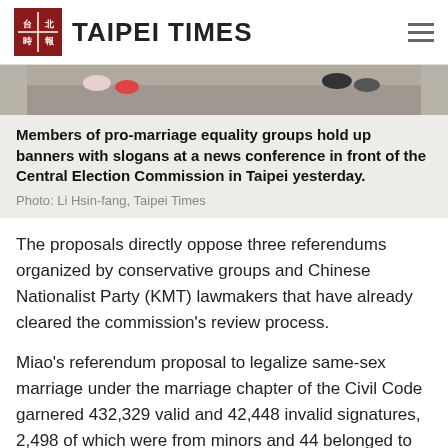TAIPEI TIMES
[Figure (photo): Partial photo showing feet/legs of people on pavement, cropped at top]
Members of pro-marriage equality groups hold up banners with slogans at a news conference in front of the Central Election Commission in Taipei yesterday.
Photo: Li Hsin-fang, Taipei Times
The proposals directly oppose three referendums organized by conservative groups and Chinese Nationalist Party (KMT) lawmakers that have already cleared the commission's review process.
Miao's referendum proposal to legalize same-sex marriage under the marriage chapter of the Civil Code garnered 432,329 valid and 42,448 invalid signatures, 2,498 of which were from minors and 44 belonged to dead people, it...